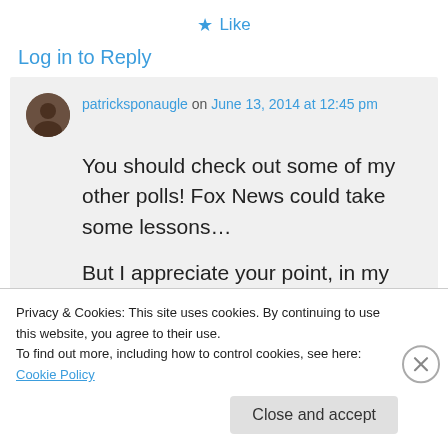★ Like
Log in to Reply
patricksponaugle on June 13, 2014 at 12:45 pm
You should check out some of my other polls! Fox News could take some lessons…

But I appreciate your point, in my defense, I
Privacy & Cookies: This site uses cookies. By continuing to use this website, you agree to their use.
To find out more, including how to control cookies, see here: Cookie Policy
Close and accept